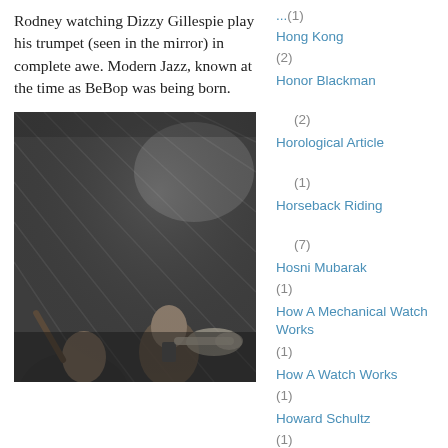Rodney watching Dizzy Gillespie play his trumpet (seen in the mirror) in complete awe. Modern Jazz, known at the time as BeBop was being born.
[Figure (photo): Black and white photograph of a jazz club scene, showing musicians playing instruments including a trumpet and violin/fiddle. A young man watches in the background. Dimly lit venue with patterned wallpaper.]
Hong Kong (2)
Honor Blackman (2)
Horological Article (1)
Horseback Riding (7)
Hosni Mubarak (1)
How A Mechanical Watch Works (1)
How A Watch Works (1)
Howard Schultz (1)
Hublot (1)
Hugh Downs (1)
Hugh Hefner (2)
Hugh Laurie (1)
Hulk Hogan (1)
Hunter Biden (1)
Hunter S.